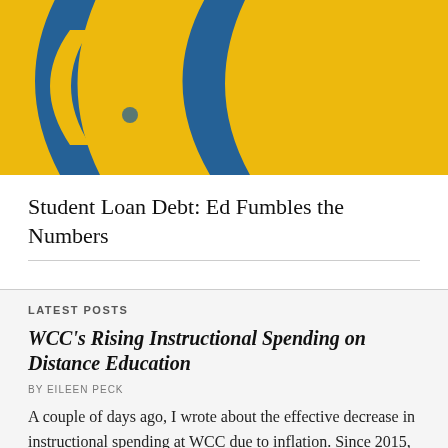[Figure (photo): Close-up photo of a yellow background with blue letter shapes, likely a sign or logo.]
Student Loan Debt: Ed Fumbles the Numbers
LATEST POSTS
WCC's Rising Instructional Spending on Distance Education
BY EILEEN PECK
A couple of days ago, I wrote about the effective decrease in instructional spending at WCC due to inflation. Since 2015, WCC's spending on instruction…